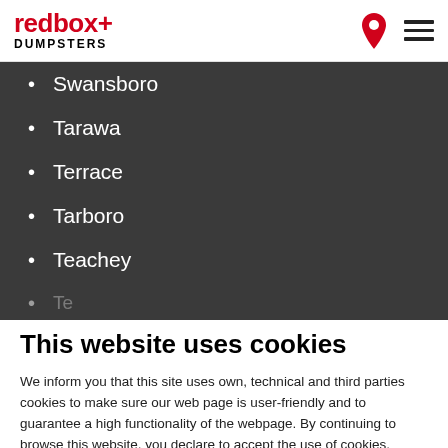[Figure (logo): redbox+ DUMPSTERS logo in red and black, with location pin icon and hamburger menu icon on the right]
Swansboro
Tarawa
Terrace
Tarboro
Teachey
This website uses cookies
We inform you that this site uses own, technical and third parties cookies to make sure our web page is user-friendly and to guarantee a high functionality of the webpage. By continuing to browse this website, you declare to accept the use of cookies.
Ok